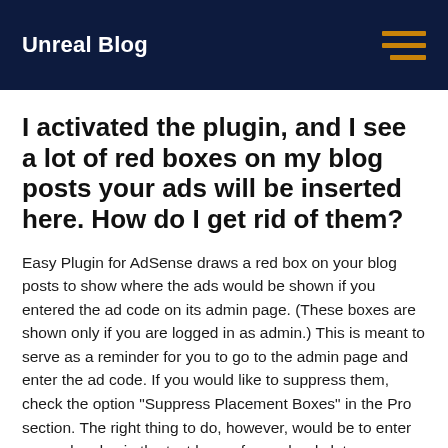Unreal Blog
I activated the plugin, and I see a lot of red boxes on my blog posts your ads will be inserted here. How do I get rid of them?
Easy Plugin for AdSense draws a red box on your blog posts to show where the ads would be shown if you entered the ad code on its admin page. (These boxes are shown only if you are logged in as admin.) This is meant to serve as a reminder for you to go to the admin page and enter the ad code. If you would like to suppress them, check the option "Suppress Placement Boxes" in the Pro section. The right thing to do, however, would be to enter your ad codes in the text boxes for each ad slot, or suppress the ad slot in the Ad Alignment panel.